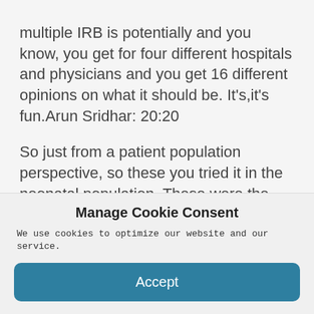multiple IRB is potentially and you know, you get for four different hospitals and physicians and you get 16 different opinions on what it should be. It's,it's fun.Arun Sridhar: 20:20

So just from a patient population perspective, so these you tried it in the neonatal population. These were the mothers addicted to prescription opioids, were they addicted to, to a kind of other kind of drug use in terms of heroin or cocaine? etc? What
Manage Cookie Consent
We use cookies to optimize our website and our service.
Accept